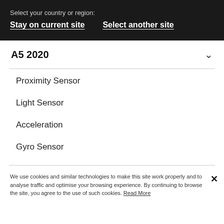Select your country or region:
Stay on current site    Select another site
A5 2020
Proximity Sensor
Light Sensor
Acceleration
Gyro Sensor
We use cookies and similar technologies to make this site work properly and to analyse traffic and optimise your browsing experience. By continuing to browse the site, you agree to the use of such cookies. Read More